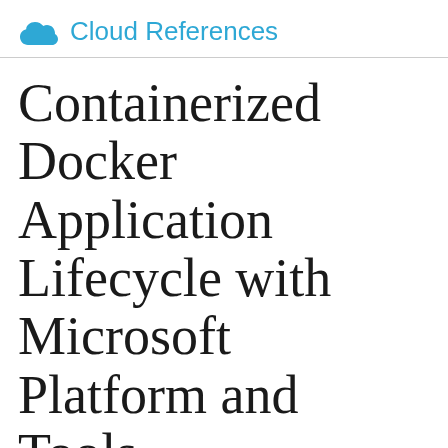Cloud References
Containerized Docker Application Lifecycle with Microsoft Platform and Tools
[Figure (screenshot): Video thumbnail showing a person with an AWS Certified Solutions Architect badge on an orange background with AWS cloud icons, and a play button overlay]